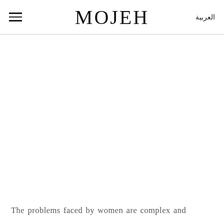MOJEH | العربية
The problems faced by women are complex and